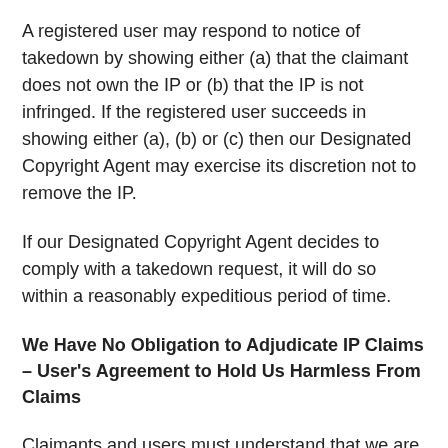A registered user may respond to notice of takedown by showing either (a) that the claimant does not own the IP or (b) that the IP is not infringed. If the registered user succeeds in showing either (a), (b) or (c) then our Designated Copyright Agent may exercise its discretion not to remove the IP.
If our Designated Copyright Agent decides to comply with a takedown request, it will do so within a reasonably expeditious period of time.
We Have No Obligation to Adjudicate IP Claims – User's Agreement to Hold Us Harmless From Claims
Claimants and users must understand that we are not an intellectual property tribunal. While we and our Designated Copyright Agent may in our discretion use the information provided in order to decide how to respond to infringement claims, we are not responsible for